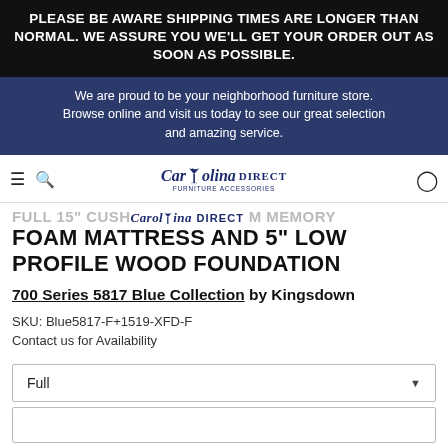PLEASE BE AWARE SHIPPING TIMES ARE LONGER THAN NORMAL. WE ASSURE YOU WE'LL GET YOUR ORDER OUT AS SOON AS POSSIBLE.
We are proud to be your neighborhood furniture store. Browse online and visit us today to see our great selection and amazing service.
[Figure (logo): Carolina Direct furniture store logo with palm tree icon]
FULL 15" CUSHION FIRM MEMORY FOAM MATTRESS AND 5" LOW PROFILE WOOD FOUNDATION
700 Series 5817 Blue Collection by Kingsdown
SKU: Blue5817-F+1519-XFD-F
Contact us for Availability